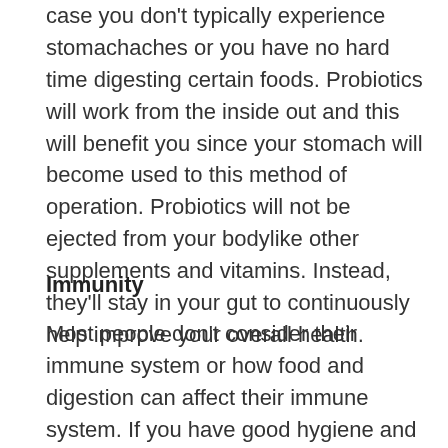case you don't typically experience stomachaches or you have no hard time digesting certain foods. Probiotics will work from the inside out and this will benefit you since your stomach will become used to this method of operation. Probiotics will not be ejected from your bodylike other supplements and vitamins. Instead, they'll stay in your gut to continuously help improve your overall health.
Immunity
Most people don't consider their immune system or how food and digestion can affect their immune system. If you have good hygiene and do your best to stay away from others who are